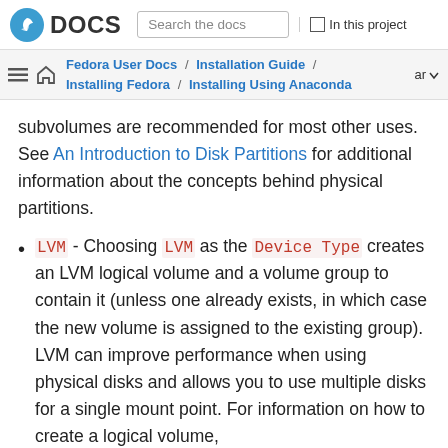DOCS | Search the docs | In this project
Fedora User Docs / Installation Guide / Installing Fedora / Installing Using Anaconda | ar
subvolumes are recommended for most other uses. See An Introduction to Disk Partitions for additional information about the concepts behind physical partitions.
LVM - Choosing LVM as the Device Type creates an LVM logical volume and a volume group to contain it (unless one already exists, in which case the new volume is assigned to the existing group). LVM can improve performance when using physical disks and allows you to use multiple disks for a single mount point. For information on how to create a logical volume,